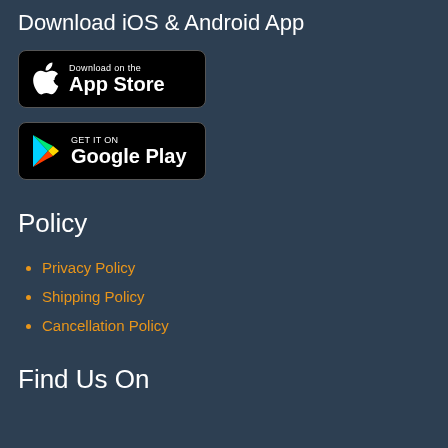Download iOS & Android App
[Figure (logo): Apple App Store download badge - black rounded rectangle with Apple logo and text 'Download on the App Store']
[Figure (logo): Google Play Store badge - black rounded rectangle with Google Play triangle logo and text 'GET IT ON Google Play']
Policy
Privacy Policy
Shipping Policy
Cancellation Policy
Find Us On